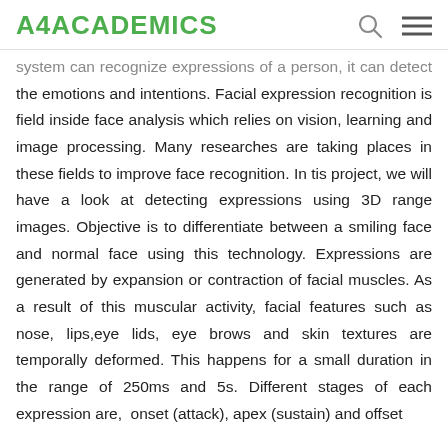A4ACADEMICS
system can recognize expressions of a person, it can detect the emotions and intentions. Facial expression recognition is field inside face analysis which relies on vision, learning and image processing. Many researches are taking places in these fields to improve face recognition. In tis project, we will have a look at detecting expressions using 3D range images. Objective is to differentiate between a smiling face and normal face using this technology. Expressions are generated by expansion or contraction of facial muscles. As a result of this muscular activity, facial features such as nose, lips,eye lids, eye brows and skin textures are temporally deformed. This happens for a small duration in the range of 250ms and 5s. Different stages of each expression are, onset (attack), apex (sustain) and offset